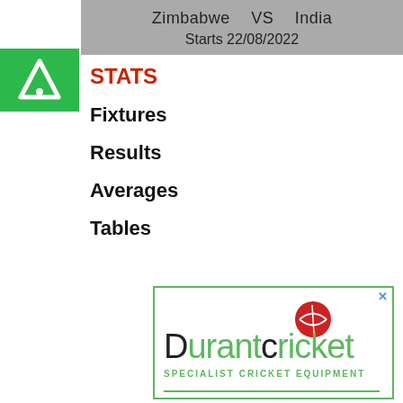Zimbabwe vs India
Starts 22/08/2022
[Figure (logo): Green square logo with white triangle/A symbol]
STATS
Fixtures
Results
Averages
Tables
[Figure (logo): Durant Cricket advertisement with green cricket ball logo, text 'Durantcricket SPECIALIST CRICKET EQUIPMENT' in green and dark colors, green border box]